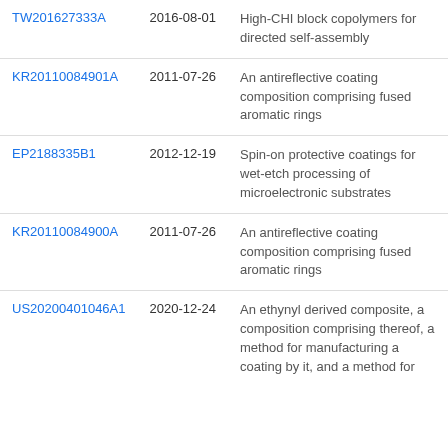| Patent ID | Date | Description |
| --- | --- | --- |
| TW201627333A | 2016-08-01 | High-CHI block copolymers for directed self-assembly |
| KR20110084901A | 2011-07-26 | An antireflective coating composition comprising fused aromatic rings |
| EP2188335B1 | 2012-12-19 | Spin-on protective coatings for wet-etch processing of microelectronic substrates |
| KR20110084900A | 2011-07-26 | An antireflective coating composition comprising fused aromatic rings |
| US20200401046A1 | 2020-12-24 | An ethynyl derived composite, a composition comprising thereof, a method for manufacturing a coating by it, and a method for |